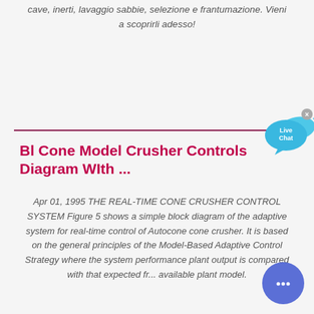cave, inerti, lavaggio sabbie, selezione e frantumazione. Vieni a scoprirli adesso!
[Figure (other): Live Chat bubble icon with blue speech bubble and fish shape, with close X button]
Bl Cone Model Crusher Controls Diagram WIth ...
Apr 01, 1995 THE REAL-TIME CONE CRUSHER CONTROL SYSTEM Figure 5 shows a simple block diagram of the adaptive system for real-time control of Autocone cone crusher. It is based on the general principles of the Model-Based Adaptive Control Strategy where the system performance plant output is compared with that expected fr... available plant model.
[Figure (other): Blue circular chat button with ellipsis icon]